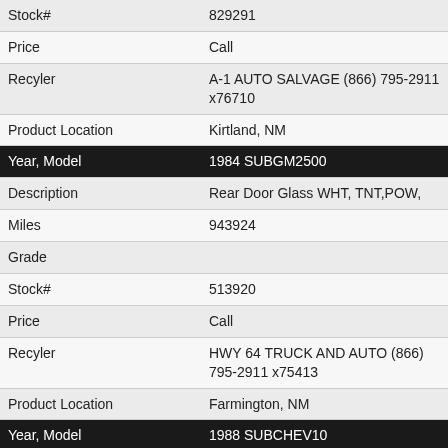| Field | Value |
| --- | --- |
| Stock# | 829291 |
| Price | Call |
| Recyler | A-1 AUTO SALVAGE (866) 795-2911 x76710 |
| Product Location | Kirtland, NM |
| Year, Model | 1984 SUBGM2500 |
| Description | Rear Door Glass WHT, TNT,POW, |
| Miles | 943924 |
| Grade |  |
| Stock# | 513920 |
| Price | Call |
| Recyler | HWY 64 TRUCK AND AUTO (866) 795-2911 x75413 |
| Product Location | Farmington, NM |
| Year, Model | 1988 SUBCHEV10 |
| Description | Rear Door Glass TINT, 9-87 |
| Miles | 212213 |
| Grade |  |